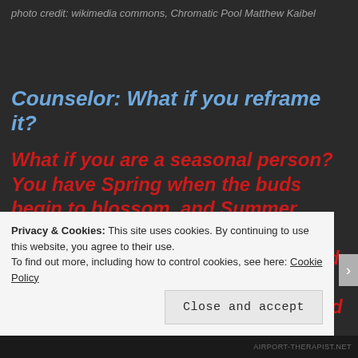photo credit: wikimedia commons, Chromatic Pool Matthew Kaibel
Counselor: What if you reframe it?
What if you are a seasonal person? You have Spring when the buds begin to blossom, and Summer when you grow and thrive, then Autumn when the growth slows and you prepare for Winter,  your season of rest, so you can grow and blossom again.
Privacy & Cookies: This site uses cookies. By continuing to use this website, you agree to their use.
To find out more, including how to control cookies, see here: Cookie Policy
Close and accept